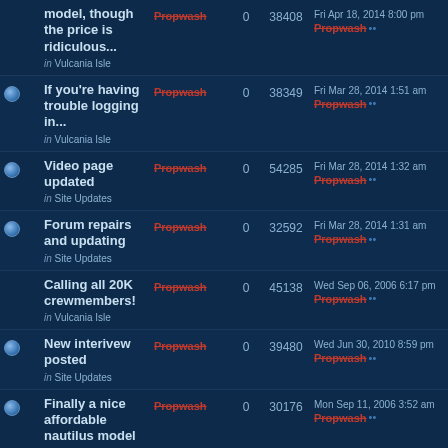|  | Topic | Author | Replies | Views | Last Post |
| --- | --- | --- | --- | --- | --- |
|  | model, though the price is ridiculous...
in Vulcania Isle | Propwash | 0 | 38408 | Fri Apr 18, 2014 8:00 pm
Propwash |
| • | If you're having trouble logging in...
in Vulcania Isle | Propwash | 0 | 38349 | Fri Mar 28, 2014 1:51 am
Propwash |
| • | Video page updated
in Site Updates | Propwash | 0 | 54285 | Fri Mar 28, 2014 1:32 am
Propwash |
| • | Forum repairs and updating
in Site Updates | Propwash | 0 | 32592 | Fri Mar 28, 2014 1:31 am
Propwash |
|  | Calling all 20K crewmembers!
in Vulcania Isle | Propwash | 0 | 45138 | Wed Sep 06, 2006 6:17 pm
Propwash |
| • | New interivew posted
in Site Updates | Propwash | 0 | 39480 | Wed Jun 30, 2010 8:59 pm
Propwash |
| • | Finally a nice affordable nautilus model
in Vulcania Isle | Propwash | 0 | 30176 | Mon Sep 11, 2006 3:52 am
Propwash |
| • | Massive site... |  |  |  |  |